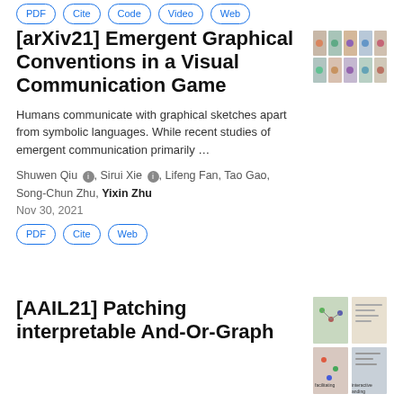PDF | Cite | Code | Video | Web
[arXiv21] Emergent Graphical Conventions in a Visual Communication Game
[Figure (photo): Thumbnail grid of paper figures showing small colorful emoji/object images in a 5x2 grid]
Humans communicate with graphical sketches apart from symbolic languages. While recent studies of emergent communication primarily …
Shuwen Qiu ℹ️, Sirui Xie ℹ️, Lifeng Fan, Tao Gao, Song-Chun Zhu, Yixin Zhu
Nov 30, 2021
PDF | Cite | Web
[AAIL21] Patching interpretable And-Or-Graph
[Figure (photo): Thumbnail showing 4 quadrant images with interactive graph/diagram scenes including maps and diagrams labeled 'facilitating', 'interactive', and 'anding']